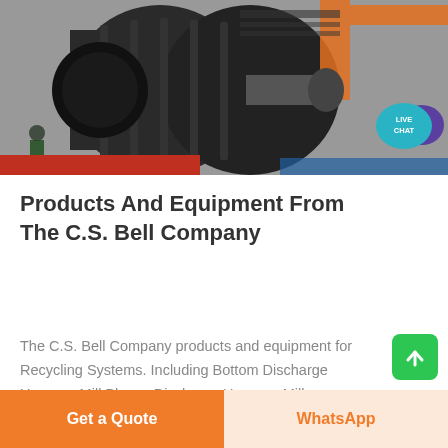[Figure (photo): Industrial machinery - large ball mill or similar heavy industrial equipment being assembled or transported, with workers visible]
[Figure (other): Live Chat speech bubble icon in teal/green color with purple chat bubble overlay, text reads LIVE CHAT]
Products And Equipment From The C.S. Bell Company
The C.S. Bell Company products and equipment for Recycling Systems. Including Bottom Discharge Hammer Mill,Blower Discharge Hammer Mills.
Get a Quote
WhatsApp